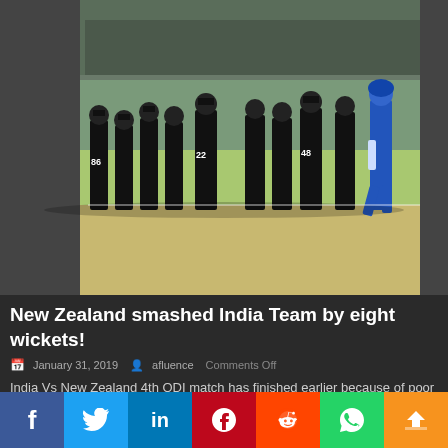[Figure (photo): Cricket match photo showing New Zealand players in black jerseys (numbers 86, 22, 48 visible) huddled together while an Indian player in blue walks away on the field.]
New Zealand smashed India Team by eight wickets!
January 31, 2019  afluence  Comments Off
India Vs New Zealand 4th ODI match has finished earlier because of poor performance of Indian...
Bikes & Cars
BIKES & CARS